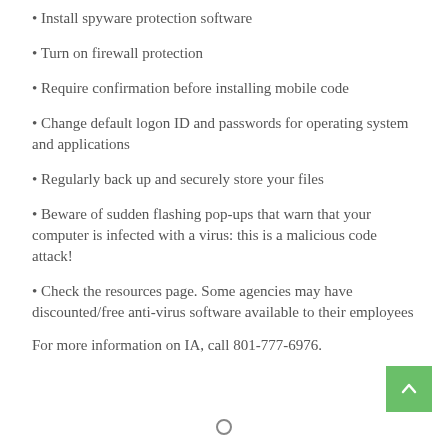Install spyware protection software
Turn on firewall protection
Require confirmation before installing mobile code
Change default logon ID and passwords for operating system and applications
Regularly back up and securely store your files
Beware of sudden flashing pop-ups that warn that your computer is infected with a virus: this is a malicious code attack!
Check the resources page. Some agencies may have discounted/free anti-virus software available to their employees
For more information on IA, call 801-777-6976.